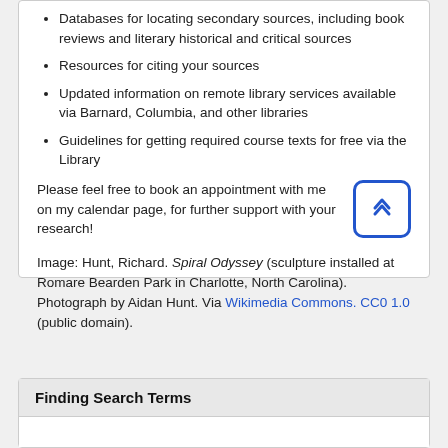Databases for locating secondary sources, including book reviews and literary historical and critical sources
Resources for citing your sources
Updated information on remote library services available via Barnard, Columbia, and other libraries
Guidelines for getting required course texts for free via the Library
Please feel free to book an appointment with me on my calendar page, for further support with your research!
Image: Hunt, Richard. Spiral Odyssey (sculpture installed at Romare Bearden Park in Charlotte, North Carolina). Photograph by Aidan Hunt. Via Wikimedia Commons. CC0 1.0 (public domain).
Finding Search Terms